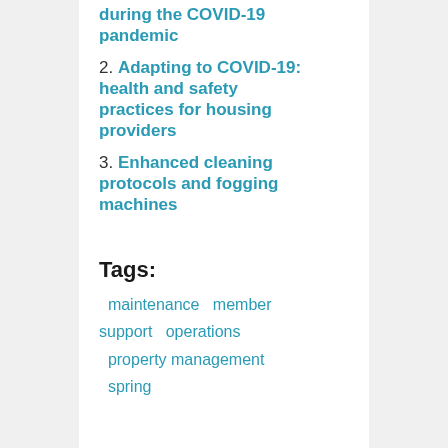during the COVID-19 pandemic
2. Adapting to COVID-19: health and safety practices for housing providers
3. Enhanced cleaning protocols and fogging machines
Tags:
maintenance   member support   operations   property management   spring